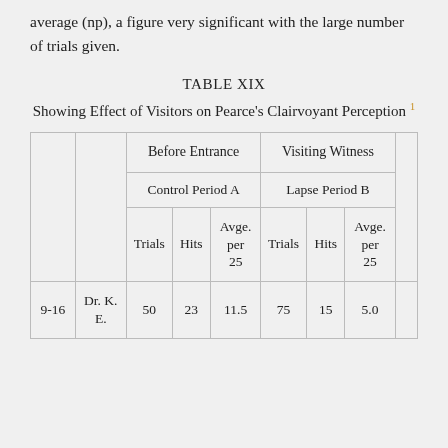average (np), a figure very significant with the large number of trials given.
TABLE XIX
Showing Effect of Visitors on Pearce's Clairvoyant Perception 1
| ['Date 1932', 'Visitor', 'Before Entrance — Control Period A (Trials, Hits, Avge. per 25)', 'Visiting Witness — Lapse Period B (Trials, Hits, Avge. per 25)', 'T'] | [] |
| --- | --- |
| 9-16 | Dr. K. E. | 50 | 23 | 11.5 | 75 | 15 | 5.0 |